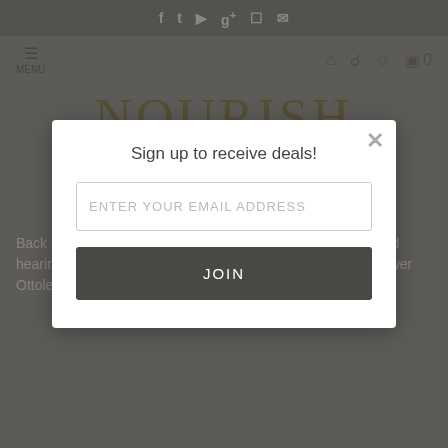f  t  yt  g+  instagram  mail
≡ MENU  🏠  🔍  👤  🛒 0
NOURISH
HOME  ...  OWER  OTTO...  ...ATION
O...  &
Posted: Jun 09 2020
Back by request is our most popular video yet. We have loved hearing how much you enjoyed making our Roasted Cauliflower Ottolenghi Rice Bowl and we were so excited when Roots
[Figure (screenshot): Modal popup dialog with text 'Sign up to receive deals!', an email input field with placeholder 'ENTER YOUR EMAIL ADDRESS', and a dark JOIN button. A close (X) button is in the top right corner.]